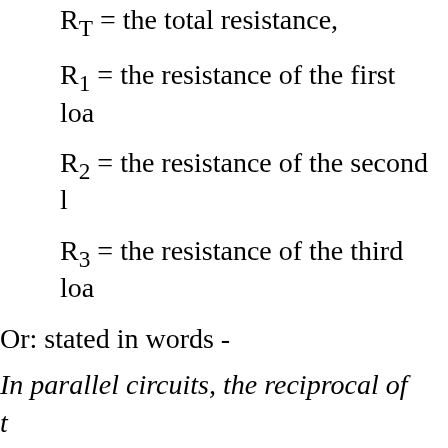R_T = the total resistance,
R_1 = the resistance of the first load
R_2 = the resistance of the second load
R_3 = the resistance of the third load
Or: stated in words -
In parallel circuits, the reciprocal of the total resistance equals the sum on the reciprocals of the branches.